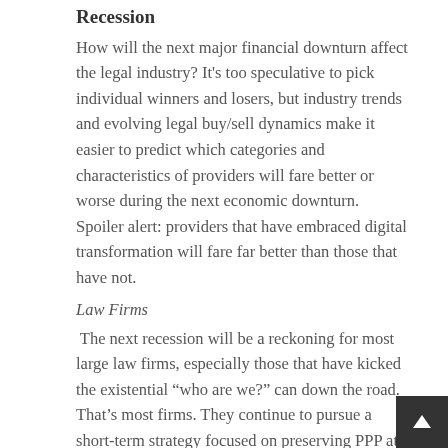Recession
How will the next major financial downturn affect the legal industry? It’s too speculative to pick individual winners and losers, but industry trends and evolving legal buy/sell dynamics make it easier to predict which categories and characteristics of providers will fare better or worse during the next economic downturn. Spoiler alert: providers that have embraced digital transformation will fare far better than those that have not.
Law Firms
The next recession will be a reckoning for most large law firms, especially those that have kicked the existential “who are we?” can down the road. That’s most firms. They continue to pursue a short-term strategy focused on preserving PPP at all costs and have yet to pay the price for it. The next financial downturn will be harsh on those